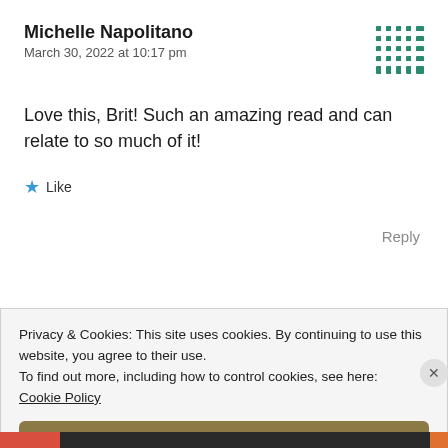Michelle Napolitano
March 30, 2022 at 10:17 pm
Love this, Brit! Such an amazing read and can relate to so much of it!
★ Like
Reply
Privacy & Cookies: This site uses cookies. By continuing to use this website, you agree to their use.
To find out more, including how to control cookies, see here: Cookie Policy
Close and accept